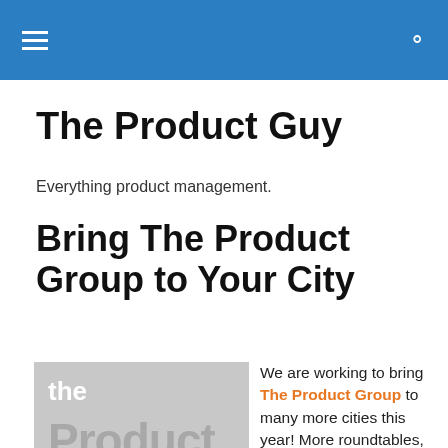The Product Guy (navigation header bar)
The Product Guy
Everything product management.
Bring The Product Group to Your City
[Figure (logo): The Product Group logo — grey background with white 'the', large grey 'Product', and 'group' text]
We are working to bring The Product Group to many more cities this year! More roundtables, more Featured Products, more great conversations! Become a co-organizer for your city today!